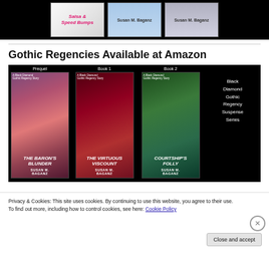[Figure (photo): Three book covers by Susan M. Baganz including Salsa & Speed Bumps against black background]
Gothic Regencies Available at Amazon
[Figure (photo): Black Diamond Gothic Regency Suspense Series book covers: Prequel (The Baron's Blunder), Book 1 (The Virtuous Viscount), Book 2 (Courtship's Folly) by Susan M. Baganz on black background]
Privacy & Cookies: This site uses cookies. By continuing to use this website, you agree to their use.
To find out more, including how to control cookies, see here: Cookie Policy
Close and accept